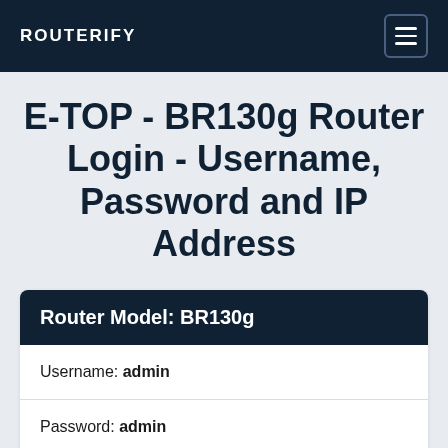ROUTERIFY
E-TOP - BR130g Router Login - Username, Password and IP Address
| Router Model: BR130g |
| --- |
| Username: admin |
| Password: admin |